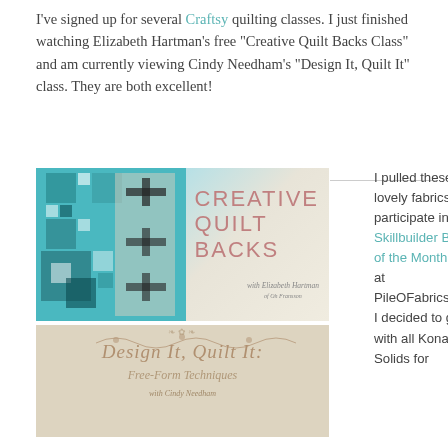I've signed up for several Craftsy quilting classes. I just finished watching Elizabeth Hartman's free "Creative Quilt Backs Class" and am currently viewing Cindy Needham's "Design It, Quilt It" class. They are both excellent!
[Figure (photo): Creative Quilt Backs course banner with quilts and pink text logo, with Elizabeth Hartman branding]
[Figure (photo): Design It, Quilt It: Free-Form Techniques with Cindy Needham course banner with decorative script text on beige background]
I pulled these lovely fabrics to participate in the Skillbuilder Block of the Month over at PileOFabrics.com. I decided to go with all Kona Solids for